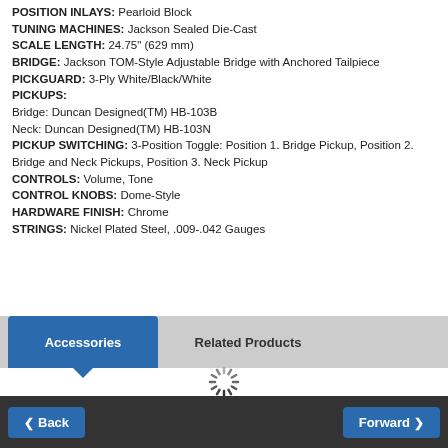POSITION INLAYS: Pearloid Block
TUNING MACHINES: Jackson Sealed Die-Cast
SCALE LENGTH: 24.75" (629 mm)
BRIDGE: Jackson TOM-Style Adjustable Bridge with Anchored Tailpiece
PICKGUARD: 3-Ply White/Black/White
PICKUPS:
Bridge: Duncan Designed(TM) HB-103B
Neck: Duncan Designed(TM) HB-103N
PICKUP SWITCHING: 3-Position Toggle: Position 1. Bridge Pickup, Position 2. Bridge and Neck Pickups, Position 3. Neck Pickup
CONTROLS: Volume, Tone
CONTROL KNOBS: Dome-Style
HARDWARE FINISH: Chrome
STRINGS: Nickel Plated Steel, .009-.042 Gauges
[Figure (screenshot): Tab navigation with 'Accessories' (active, blue) and 'Related Products' (inactive, grey) tabs, followed by a loading spinner]
Back   Forward